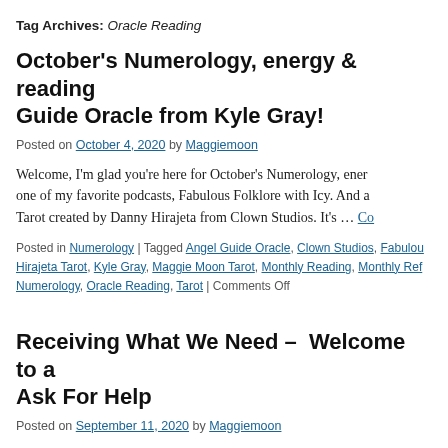Tag Archives: Oracle Reading
October's Numerology, energy & reading… Guide Oracle from Kyle Gray!
Posted on October 4, 2020 by Maggiemoon
Welcome, I'm glad you're here for October's Numerology, ener… one of my favorite podcasts, Fabulous Folklore with Icy. And a Tarot created by Danny Hirajeta from Clown Studios. It's … Co
Posted in Numerology | Tagged Angel Guide Oracle, Clown Studios, Fabulous… Hirajeta Tarot, Kyle Gray, Maggie Moon Tarot, Monthly Reading, Monthly Ref… Numerology, Oracle Reading, Tarot | Comments Off
Receiving What We Need –  Welcome to a… Ask For Help
Posted on September 11, 2020 by Maggiemoon
The Angels both human & divine, are always on speed dial, we